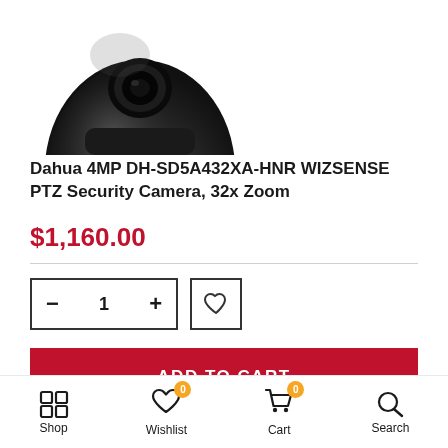[Figure (photo): Top portion of a black PTZ security camera dome, cropped at the top of the page]
Dahua 4MP DH-SD5A432XA-HNR WIZSENSE PTZ Security Camera, 32x Zoom
$1,160.00
[Figure (other): Quantity selector showing minus button, 1, plus button; and a wishlist heart icon button]
ADD TO CART
[Figure (other): Row of small product thumbnail cards partially visible at the bottom]
Shop  Wishlist 0  Cart 0  Search